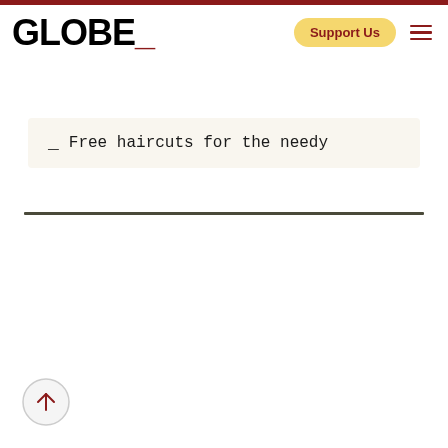GLOBE_ | Support Us
_ Free haircuts for the needy